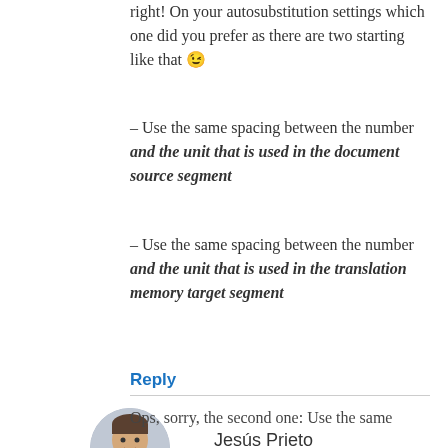right! On your autosubstitution settings which one did you prefer as there are two starting like that 😉
– Use the same spacing between the number and the unit that is used in the document source segment
– Use the same spacing between the number and the unit that is used in the translation memory target segment
Reply
Jesús Prieto
JUNE 3, 2015 AT 11:09 AM
Ops, sorry, the second one: Use the same